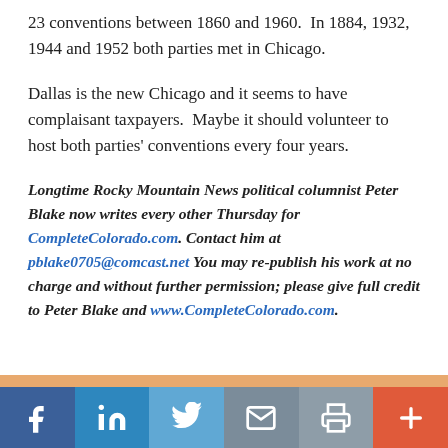23 conventions between 1860 and 1960.  In 1884, 1932, 1944 and 1952 both parties met in Chicago.
Dallas is the new Chicago and it seems to have complaisant taxpayers.  Maybe it should volunteer to host both parties' conventions every four years.
Longtime Rocky Mountain News political columnist Peter Blake now writes every other Thursday for CompleteColorado.com. Contact him at pblake0705@comcast.net You may re-publish his work at no charge and without further permission; please give full credit to Peter Blake and www.CompleteColorado.com.
[Figure (infographic): Social share bar with Facebook, LinkedIn, Twitter, Email, Print, and More buttons]